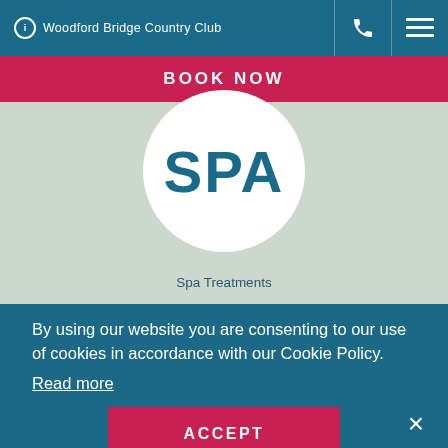Woodford Bridge Country Club — navigation bar with phone and menu icons
BOOK NOW
[Figure (logo): SPA logo — white circle with bold teal SPA text on light green background]
Spa Treatments
By using our website you are consenting to our use of cookies in accordance with our Cookie Policy.
Read more
ACCEPT